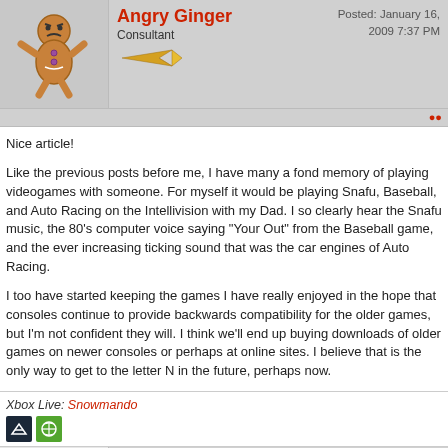[Figure (illustration): Gingerbread man avatar for user Angry Ginger]
Angry Ginger
Consultant
Posted: January 16, 2009 7:37 PM
Nice article!
Like the previous posts before me, I have many a fond memory of playing videogames with someone. For myself it would be playing Snafu, Baseball, and Auto Racing on the Intellivision with my Dad. I so clearly hear the Snafu music, the 80's computer voice saying "Your Out" from the Baseball game, and the ever increasing ticking sound that was the car engines of Auto Racing.
I too have started keeping the games I have really enjoyed in the hope that consoles continue to provide backwards compatibility for the older games, but I'm not confident they will. I think we'll end up buying downloads of older games on newer consoles or perhaps at online sites. I believe that is the only way to get to the letter N in the future, perhaps now.
Xbox Live: Snowmando
[Figure (illustration): Elf avatar for user Duoae]
Duoae
Unprncbl
Posted: January 16, 2009 7:55 PM